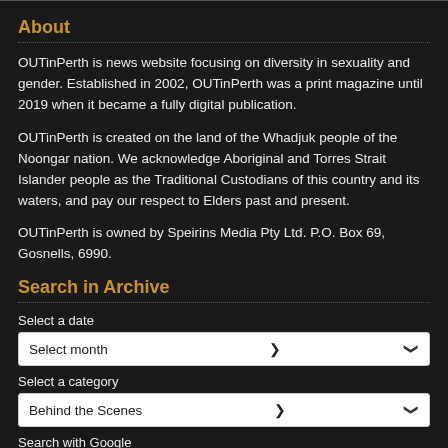About
OUTinPerth is news website focusing on diversity in sexuality and gender. Established in 2002, OUTinPerth was a print magazine until 2019 when it became a fully digital publication.
OUTinPerth is created on the land of the Whadjuk people of the Noongar nation. We acknowledge Aboriginal and Torres Strait Islander people as the Traditional Custodians of this country and its waters, and pay our respect to Elders past and present.
OUTinPerth is owned by Speirins Media Pty Ltd. P.O. Box 69, Gosnells, 6990.
Search in Archive
Select a date
Select month
Select a category
Behind the Scenes
Search with Google
Write keyword and hit return